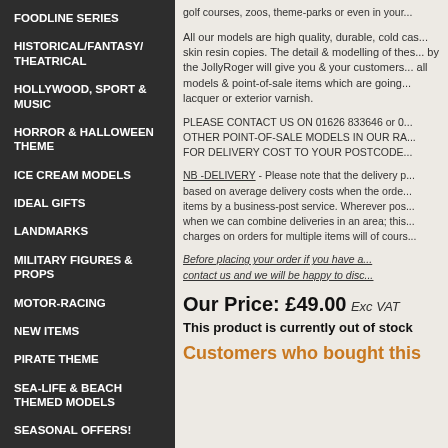FOODLINE SERIES
HISTORICAL/FANTASY/ THEATRICAL
HOLLYWOOD, SPORT & MUSIC
HORROR & HALLOWEEN THEME
ICE CREAM MODELS
IDEAL GIFTS
LANDMARKS
MILITARY FIGURES & PROPS
MOTOR-RACING
NEW ITEMS
PIRATE THEME
SEA-LIFE & BEACH THEMED MODELS
SEASONAL OFFERS!
golf courses, zoos, theme-parks or even in your...
All our models are high quality, durable, cold cast skin resin copies. The detail & modelling of these by the JollyRoger will give you & your customers all models & point-of-sale items which are going lacquer or exterior varnish.
PLEASE CONTACT US ON 01626 833646 or 0... OTHER POINT-OF-SALE MODELS IN OUR RA... FOR DELIVERY COST TO YOUR POSTCODE...
NB -DELIVERY - Please note that the delivery p... based on average delivery costs when the order... items by a business-post service. Wherever pos... when we can combine deliveries in an area; this... charges on orders for multiple items will of cours...
Before placing your order if you have a... contact us and we will be happy to disc...
Our Price: £49.00 Exc VAT
This product is currently out of stock
Customers who bought this